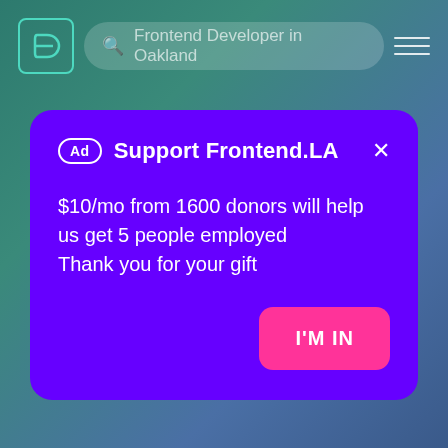[Figure (screenshot): Navigation bar with a teal D logo, search bar showing 'Frontend Developer in Oakland', and a hamburger menu icon on the right]
Support Frontend.LA
$10/mo from 1600 donors will help us get 5 people employed
Thank you for your gift
I'M IN